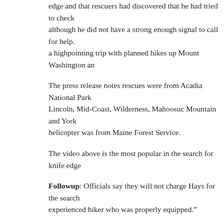edge and that rescuers had discovered that he had tried to check in although he did not have a strong enough signal to call for help. a highpointing trip with planned hikes up Mount Washington an
The press release notes rescues were from Acadia National Park Lincoln, Mid-Coast, Wilderness, Mahoosuc Mountain and York helicopter was from Maine Forest Service.
The video above is the most popular in the search for knife edge
Followup: Officials say they will not charge Hays for the search experienced hiker who was properly equipped.”
Like this:
Loading...
This entry was posted in Uncategorized and tagged Maine, Searches. Bookm